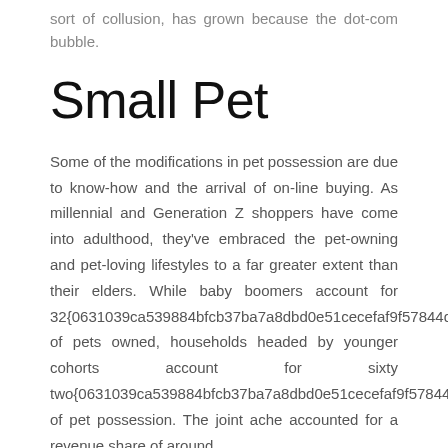sort of collusion, has grown because the dot-com bubble.
Small Pet
Some of the modifications in pet possession are due to know-how and the arrival of on-line buying. As millennial and Generation Z shoppers have come into adulthood, they've embraced the pet-owning and pet-loving lifestyles to a far greater extent than their elders. While baby boomers account for 32{0631039ca539884bfcb37ba7a8dbd0e51cecefaf9f57844dc648b942b0e98a0f} of pets owned, households headed by younger cohorts account for sixty two{0631039ca539884bfcb37ba7a8dbd0e51cecefaf9f57844dc648b942b0e98a0f} of pet possession. The joint ache accounted for a revenue share of around